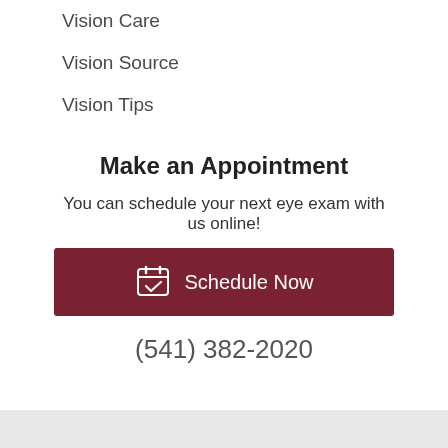Vision Care
Vision Source
Vision Tips
Make an Appointment
You can schedule your next eye exam with us online!
[Figure (other): Dark red button with calendar icon and text 'Schedule Now']
(541) 382-2020